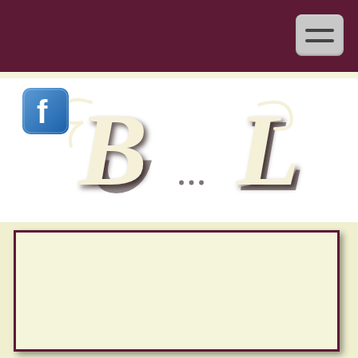[Figure (screenshot): Dark maroon navigation bar at the top of a website with a hamburger menu button (three horizontal bars) in the upper right corner]
[Figure (logo): Facebook icon (blue square with white 'f') in the upper left below the nav bar, and a decorative cursive monogram logo showing ornate 'B' and 'L' letters in cream/ivory color with dark shadow on white background]
[Figure (other): Cream/ivory colored rectangular content box with dark maroon border, positioned in the lower half of the page on a light yellow-green background]